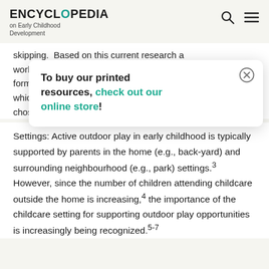ENCYCLOPEDIA on Early Childhood Development
skipping. Based on this current research a working definition of physical activity was created: "A form of... in which... chosen... p. 164)
To buy our printed resources, check out our online store!
Settings: Active outdoor play in early childhood is typically supported by parents in the home (e.g., back-yard) and surrounding neighbourhood (e.g., park) settings.3 However, since the number of children attending childcare outside the home is increasing,4 the importance of the childcare setting for supporting outdoor play opportunities is increasingly being recognized.5-7